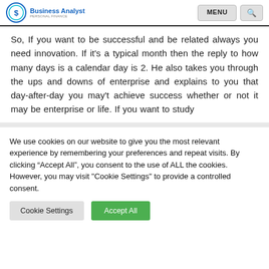Business Analyst | MENU | Search
So, If you want to be successful and be related always you need innovation. If it's a typical month then the reply to how many days is a calendar day is 2. He also takes you through the ups and downs of enterprise and explains to you that day-after-day you may't achieve success whether or not it may be enterprise or life. If you want to study
We use cookies on our website to give you the most relevant experience by remembering your preferences and repeat visits. By clicking “Accept All”, you consent to the use of ALL the cookies. However, you may visit "Cookie Settings" to provide a controlled consent.
Cookie Settings | Accept All